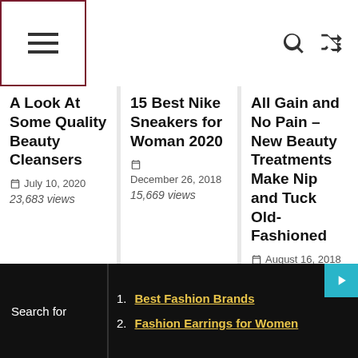Navigation bar with hamburger menu, search icon, and shuffle icon
A Look At Some Quality Beauty Cleansers
July 10, 2020  23,683 views
15 Best Nike Sneakers for Woman 2020
December 26, 2018  15,669 views
All Gain and No Pain – New Beauty Treatments Make Nip and Tuck Old-Fashioned
August 16, 2018  13,113 views
Leave a Reply
You must be logged in to post a comment.
1. Best Fashion Brands
2. Fashion Earrings for Women
Search for